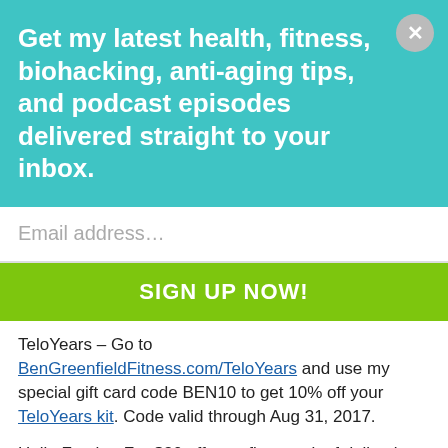Get my latest health, fitness, biohacking, anti-aging tips, and podcast episodes delivered straight to your inbox.
Email address...
SIGN UP NOW!
TeloYears - Go to BenGreenfieldFitness.com/TeloYears and use my special gift card code BEN10 to get 10% off your TeloYears kit. Code valid through Aug 31, 2017.
Hello Fresh - For $30 off your first week of deliveries, visit HelloFresh.com and enter code FITNESS30 when you subscribe!
Marc Pro - Marc Pro: Pain Relief and Faster Muscle Recovery Time. For a 5% discount, use promo code "BEN" at marcpro.com.